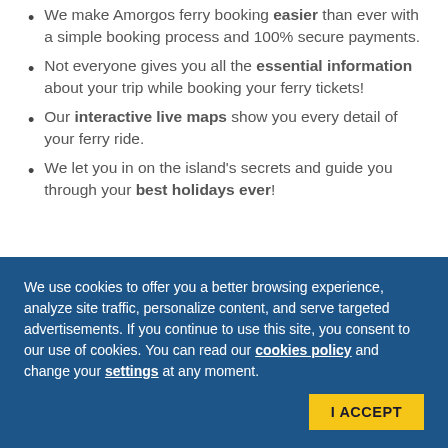We make Amorgos ferry booking easier than ever with a simple booking process and 100% secure payments.
Not everyone gives you all the essential information about your trip while booking your ferry tickets!
Our interactive live maps show you every detail of your ferry ride.
We let you in on the island's secrets and guide you through your best holidays ever!
We use cookies to offer you a better browsing experience, analyze site traffic, personalize content, and serve targeted advertisements. If you continue to use this site, you consent to our use of cookies. You can read our cookies policy and change your settings at any moment.